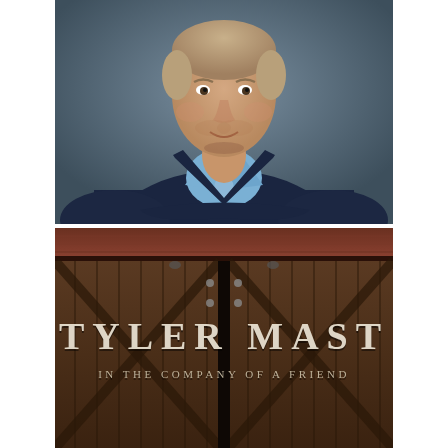[Figure (photo): Portrait photo of a man wearing a navy blue v-neck sweater over a light blue collared shirt, arms crossed, photographed against a blue-grey background. His face is visible at the top, hair light brown.]
[Figure (photo): Album cover image showing weathered wooden barn doors with diagonal cross-beam planks, with a dark barn roof/overhang at top. Text overlaid reads 'TYLER MAST' in large serif caps, and below it 'IN THE COMPANY OF A FRIEND' in smaller spaced serif caps.]